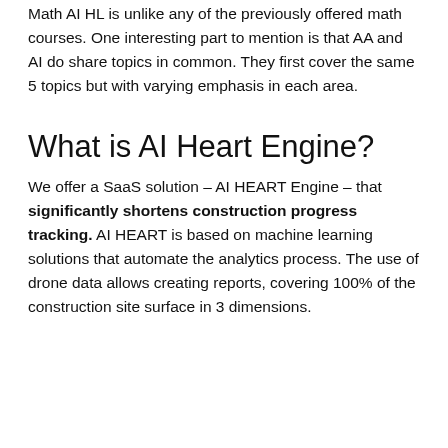Math AI HL is unlike any of the previously offered math courses. One interesting part to mention is that AA and AI do share topics in common. They first cover the same 5 topics but with varying emphasis in each area.
What is AI Heart Engine?
We offer a SaaS solution – AI HEART Engine – that significantly shortens construction progress tracking. AI HEART is based on machine learning solutions that automate the analytics process. The use of drone data allows creating reports, covering 100% of the construction site surface in 3 dimensions.